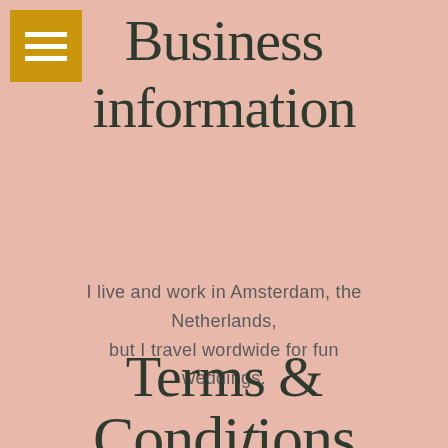[Figure (other): Gold/yellow square menu icon with three white horizontal lines (hamburger menu), positioned top-left]
Business information
I live and work in Amsterdam, the Netherlands, but I travel wordwide for fun weddings.
Terms & Conditions